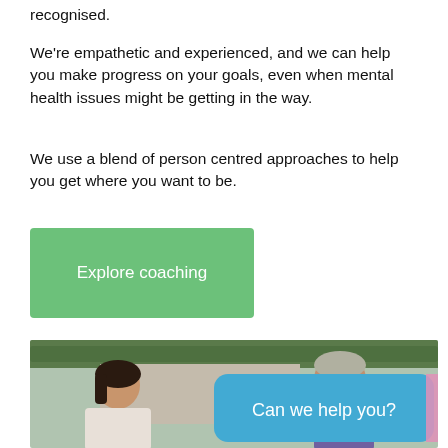recognised.
We're empathetic and experienced, and we can help you make progress on your goals, even when mental health issues might be getting in the way.
We use a blend of person centred approaches to help you get where you want to be.
[Figure (other): Green rounded button labelled 'Explore coaching']
[Figure (photo): Two people outdoors in conversation — a woman with dark hair in a white jacket and a man with grey hair. A blue rounded overlay box reads 'Can we help you?' with a pink accent on the right edge.]